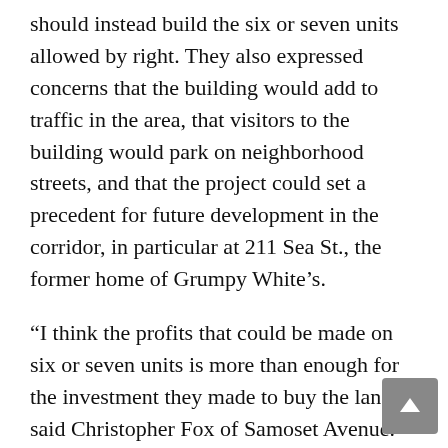should instead build the six or seven units allowed by right. They also expressed concerns that the building would add to traffic in the area, that visitors to the building would park on neighborhood streets, and that the project could set a precedent for future development in the corridor, in particular at 211 Sea St., the former home of Grumpy White’s.
“I think the profits that could be made on six or seven units is more than enough for the investment they made to buy the land,” said Christopher Fox of Samoset Avenue. “Having all of us live with that mistake after the fact and then selling these units to people living with those mistakes is not fair to anyone in the city, except the developer gets to leave with their pockets full.”
Other speakers commented on the permitting